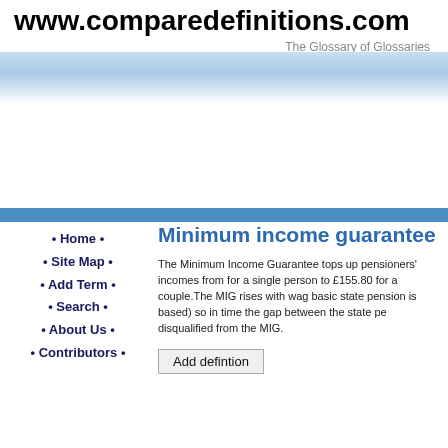www.comparedefinitions.com
The Glossary of Glossaries
Minimum income guarantee
Home
Site Map
Add Term
Search
About Us
Contributors
The Minimum Income Guarantee tops up pensioners' incomes from for a single person to £155.80 for a couple.The MIG rises with wag basic state pension is based) so in time the gap between the state pe disqualified from the MIG.